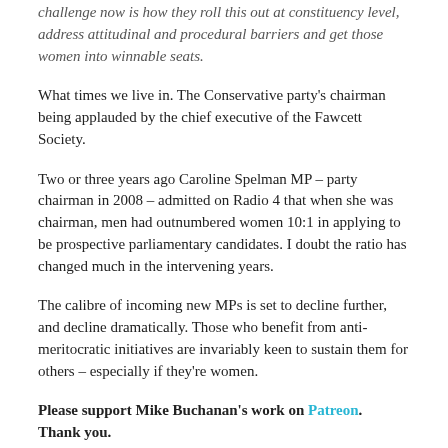challenge now is how they roll this out at constituency level, address attitudinal and procedural barriers and get those women into winnable seats.
What times we live in. The Conservative party’s chairman being applauded by the chief executive of the Fawcett Society.
Two or three years ago Caroline Spelman MP – party chairman in 2008 – admitted on Radio 4 that when she was chairman, men had outnumbered women 10:1 in applying to be prospective parliamentary candidates. I doubt the ratio has changed much in the intervening years.
The calibre of incoming new MPs is set to decline further, and decline dramatically. Those who benefit from anti-meritocratic initiatives are invariably keen to sustain them for others – especially if they’re women.
Please support Mike Buchanan’s work on Patreon. Thank you.